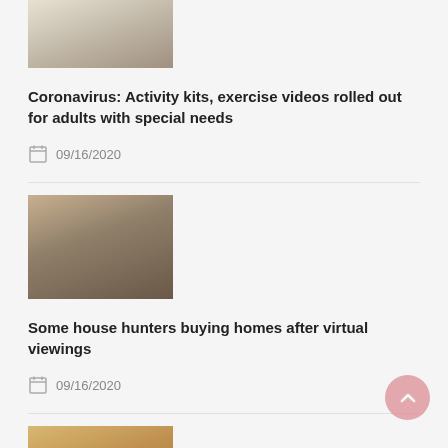[Figure (photo): People in a venue, partial view at top]
Coronavirus: Activity kits, exercise videos rolled out for adults with special needs
09/16/2020
[Figure (photo): Woman working on laptop in an office or home setting]
Some house hunters buying homes after virtual viewings
09/16/2020
[Figure (photo): Crowd of people seated at tables in a hall]
New private home sales down 27% in October
11/18/2019